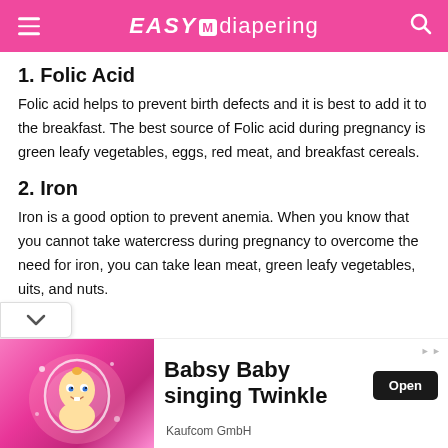EASY diapering
1. Folic Acid
Folic acid helps to prevent birth defects and it is best to add it to the breakfast. The best source of Folic acid during pregnancy is green leafy vegetables, eggs, red meat, and breakfast cereals.
2. Iron
Iron is a good option to prevent anemia. When you know that you cannot take watercress during pregnancy to overcome the need for iron, you can take lean meat, green leafy vegetables, uits, and nuts.
[Figure (illustration): Advertisement banner for Babsy Baby singing Twinkle by Kaufcom GmbH, showing an animated baby character on a pink glowing background with an Open button]